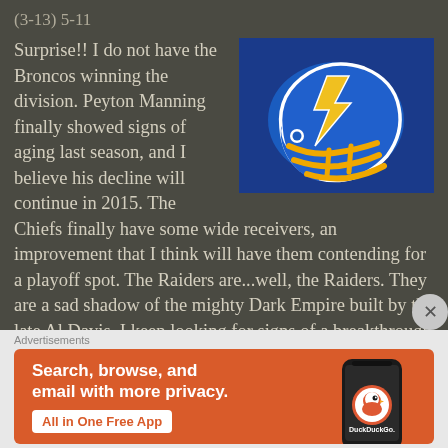(3-13) 5-11
Surprise!! I do not have the Broncos winning the division. Peyton Manning finally showed signs of aging last season, and I believe his decline will continue in 2015. The Chiefs finally have some wide receivers, an improvement that I think will have them contending for a playoff spot. The Raiders are...well, the Raiders. They are a sad shadow of the mighty Dark Empire built by the late Al Davis. I keep looking for signs of a breakthrough but they just aren't there, unless
[Figure (illustration): San Diego Chargers helmet logo — blue helmet with yellow lightning bolt on blue background]
Advertisements
[Figure (infographic): DuckDuckGo advertisement banner: orange background with white bold text 'Search, browse, and email with more privacy.' with white button 'All in One Free App' and a smartphone displaying DuckDuckGo logo on the right side]